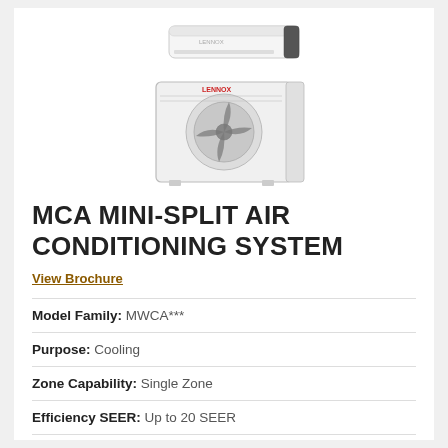[Figure (photo): Mini-split air conditioning system showing wall-mounted indoor unit above and outdoor compressor unit below, both in white/light grey color]
MCA MINI-SPLIT AIR CONDITIONING SYSTEM
View Brochure
| Model Family: | MWCA*** |
| Purpose: | Cooling |
| Zone Capability: | Single Zone |
| Efficiency SEER: | Up to 20 SEER |